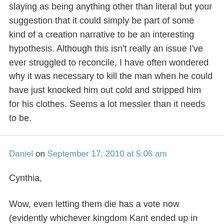slaying as being anything other than literal but your suggestion that it could simply be part of some kind of a creation narrative to be an interesting hypothesis. Although this isn't really an issue I've ever struggled to reconcile, I have often wondered why it was necessary to kill the man when he could have just knocked him out cold and stripped him for his clothes. Seems a lot messier than it needs to be.
Daniel on September 17, 2010 at 5:06 am
Cynthia,
Wow, even letting them die has a vote now (evidently whichever kingdom Kant ended up in